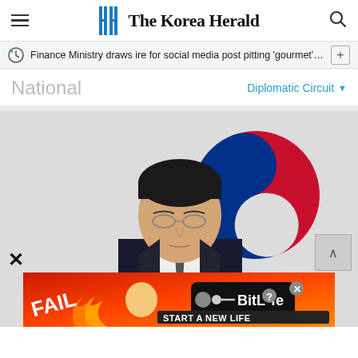The Korea Herald
Finance Ministry draws ire for social media post pitting 'gourmet' ...
National
Diplomatic Circuit
[Figure (photo): A man in a dark suit with glasses stands in front of the South Korean government emblem (taeguk symbol in blue and red)]
FAIL START A NEW LIFE BitLife